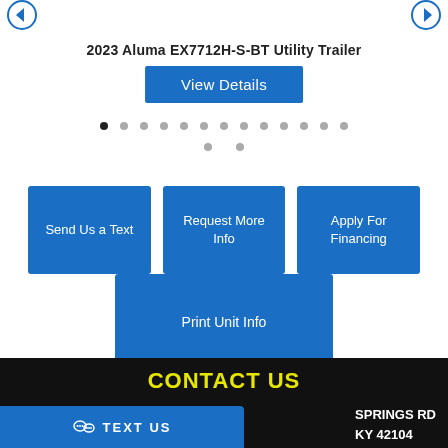2023 Aluma EX7712H-S-BT Utility Trailer
View Details
[Figure (other): Carousel navigation dots showing 15 dots total, first dot active]
Send Us a Text
Request More Info
Apply For Financing
Print Unit Info
CONTACT US
TEXT US
SPRINGS RD
KY 42104